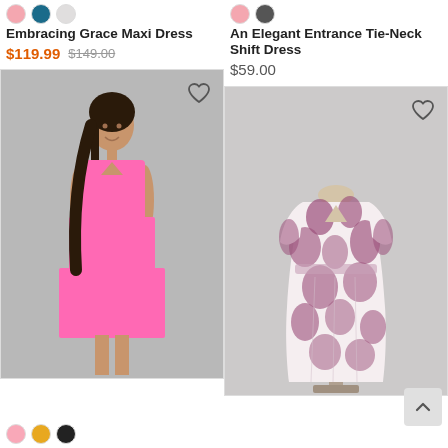[Figure (photo): Color swatches for left product: pink, teal/blue, light gray circles]
Embracing Grace Maxi Dress
$119.99  $149.00
[Figure (photo): Woman wearing a tiered pink chiffon sleeveless V-neck dress on gray background]
[Figure (photo): Color swatches for left product bottom row: pink, yellow/gold, black circles]
[Figure (photo): Color swatches for right product: pink, dark gray circles]
An Elegant Entrance Tie-Neck Shift Dress
$59.00
[Figure (photo): Floral purple/mauve dress on mannequin against light gray background]
By Timeless London
[Figure (photo): Color swatches for right product bottom row: pink circle]